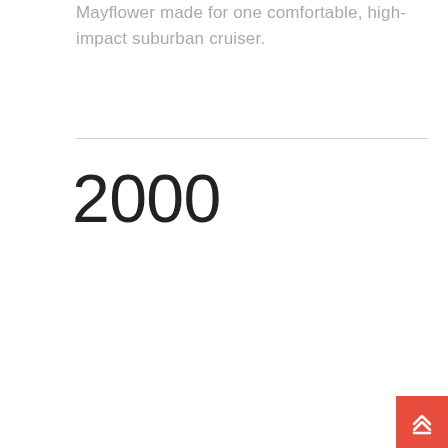Mayflower made for one comfortable, high-impact suburban cruiser.
2000